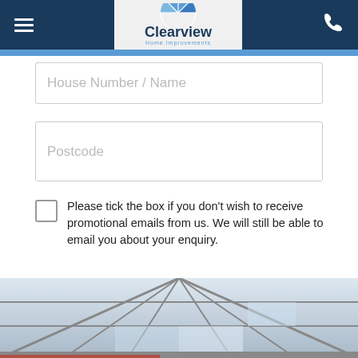[Figure (screenshot): Clearview Home Improvements website header with dark navy background, hamburger menu icon on left, Clearview Home Improvements logo in center on light grey background, and phone icon on right]
House Number / Name
Postcode
Please tick the box if you don't wish to receive promotional emails from us. We will still be able to email you about your enquiry.
DOWNLOAD BROCHURE >
[Figure (photo): Roof lantern / skylight window with glass panels and aluminium framing, viewed from below at angle]